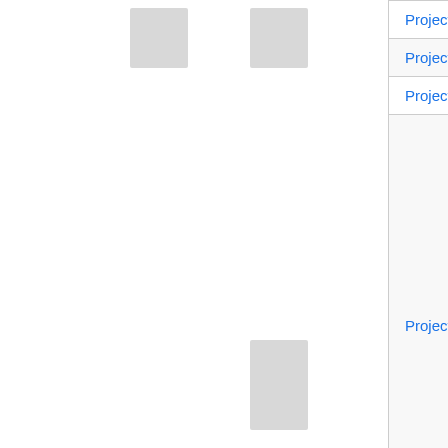| Path | Description |
| --- | --- |
| Projects/Koekeloeren | Koekelo... |
| Projects/CBeamMachine | C-Beam M... |
| Projects/Countdown | Countdo... |
| Projects/MoneyHopper | MoneyHo... |
| Projects/$andere ruimte | De ander... |